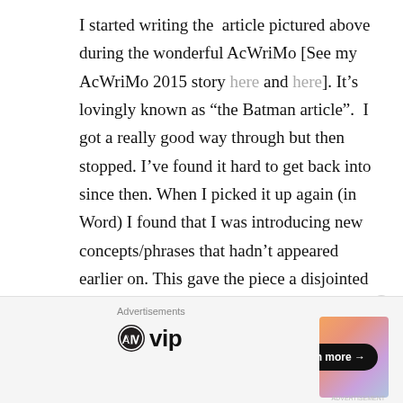I started writing the article pictured above during the wonderful AcWriMo [See my AcWriMo 2015 story here and here]. It's lovingly known as “the Batman article”. I got a really good way through but then stopped. I’ve found it hard to get back into since then. When I picked it up again (in Word) I found that I was introducing new concepts/phrases that hadn’t appeared earlier on. This gave the piece a disjointed feel.
[Figure (other): Advertisement bar with WordPress VIP logo on the left and a colorful gradient banner with a 'Learn more →' button on the right. A close (X) button appears in the upper right corner of the ad area. Small label 'Advertisements' above the logos.]